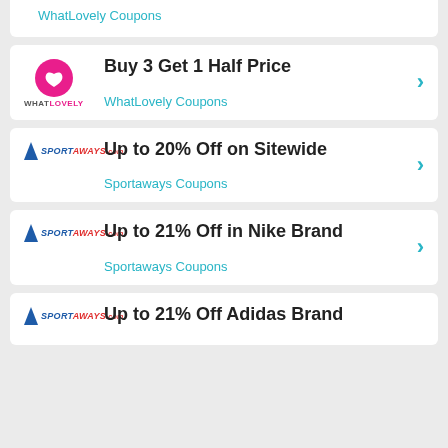WhatLovely Coupons
Buy 3 Get 1 Half Price
WhatLovely Coupons
Up to 20% Off on Sitewide
Sportaways Coupons
Up to 21% Off in Nike Brand
Sportaways Coupons
Up to 21% Off Adidas Brand